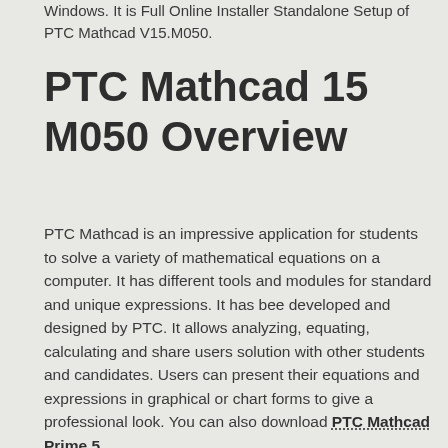Windows. It is Full Online Installer Standalone Setup of PTC Mathcad V15.M050.
PTC Mathcad 15 M050 Overview
PTC Mathcad is an impressive application for students to solve a variety of mathematical equations on a computer. It has different tools and modules for standard and unique expressions. It has bee developed and designed by PTC. It allows analyzing, equating, calculating and share users solution with other students and candidates. Users can present their equations and expressions in graphical or chart forms to give a professional look. You can also download PTC Mathcad Prime 5.